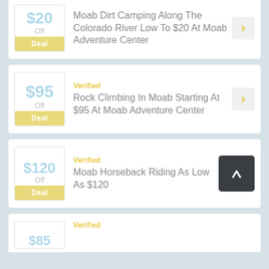Moab Dirt Camping Along The Colorado River Low To $20 At Moab Adventure Center
Verified
Rock Climbing In Moab Starting At $95 At Moab Adventure Center
Verified
Moab Horseback Riding As Low As $120
Verified